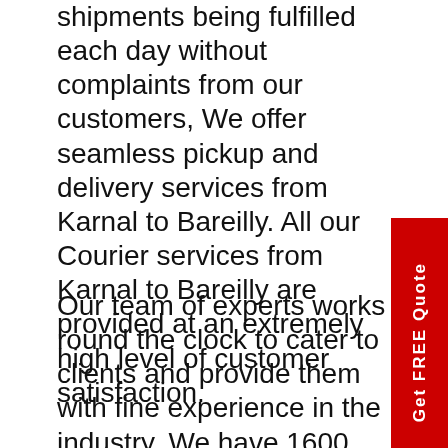shipments being fulfilled each day without complaints from our customers, We offer seamless pickup and delivery services from Karnal to Bareilly. All our Courier services from Karnal to Bareilly are provided at an extremely high level of customer satisfaction.
Our team of experts works round the clock to cater to clients and provide them with fine experience in the industry. We have 1600 branches spread across 1100 cities, and our highly qualified staff pledges to deliver your package in a secure manner from Karnal to Bareilly.
[Figure (other): Orange phone call icon with signal waves]
[Figure (other): Green WhatsApp icon]
Providing a fulfillment solution that entails pickup, delivery, packaging, logistics from Karnal to Bareilly, and order tracking, you can ensure your customers will receive 100 percent satisfaction. Professionals handle your package from start to finish, ensuring that it is delivered safely and on time from